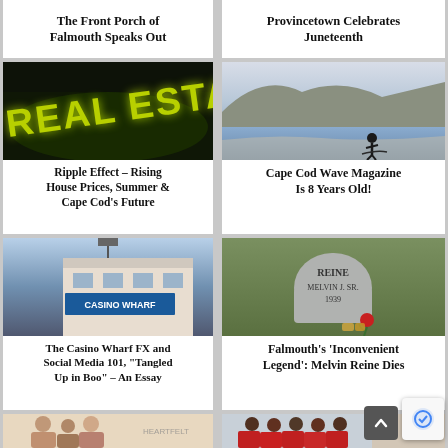The Front Porch of Falmouth Speaks Out
Provincetown Celebrates Juneteenth
[Figure (photo): Dark background with glowing yellow-green 'REAL ESTATE' text]
Ripple Effect – Rising House Prices, Summer & Cape Cod's Future
[Figure (photo): Silhouette of a person at the beach at dusk with cliffs in background]
Cape Cod Wave Magazine Is 8 Years Old!
[Figure (photo): Casino Wharf sign on a building]
The Casino Wharf FX and Social Media 101, "Tangled Up in Boo" – An Essay
[Figure (photo): Gravestone reading REINE MELVIN J. SR. 1939 with a red rose]
Falmouth's 'Inconvenient Legend': Melvin Reine Dies
[Figure (photo): Group of people in an indoor setting, partial view]
[Figure (photo): Group of people in red shirts in an indoor setting]